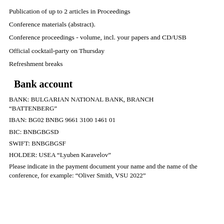Publication of up to 2 articles in Proceedings
Conference materials (abstract).
Conference proceedings - volume, incl. your papers and CD/USB
Official cocktail-party on Thursday
Refreshment breaks
Bank account
BANK: BULGARIAN NATIONAL BANK, BRANCH “BATTENBERG”
IBAN: BG02 BNBG 9661 3100 1461 01
BIC: BNBGBGSD
SWIFT: BNBGBGSF
HOLDER: USEA “Lyuben Karavelov”
Please indicate in the payment document your name and the name of the conference, for example: “Oliver Smith, VSU 2022”